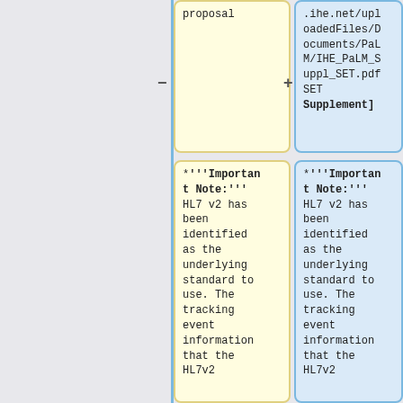proposal
.ihe.net/uploadedFiles/Documents/PaLM/IHE_PaLM_Suppl_SET.pdf SET Supplement]
*'''Important Note:''' HL7 v2 has been identified as the underlying standard to use. The tracking event information that the HL7v2
*'''Important Note:''' HL7 v2 has been identified as the underlying standard to use. The tracking event information that the HL7v2